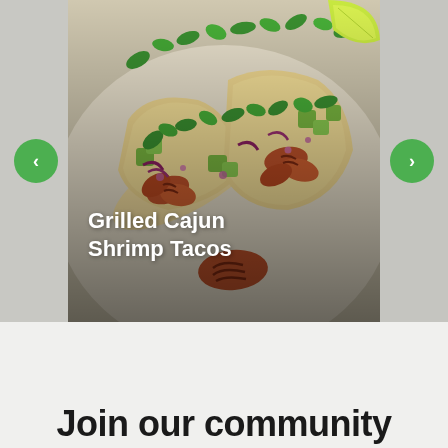[Figure (photo): A carousel image card showing Grilled Cajun Shrimp Tacos — two shrimp tacos topped with avocado chunks, red onion, cilantro, and purple cabbage. Navigation arrows (< and >) appear on green circular buttons on either side of the carousel. Partial previews of adjacent slides are visible on the left and right edges.]
Grilled Cajun Shrimp Tacos
Join our community